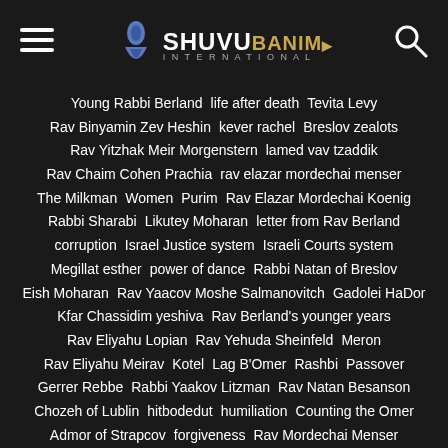SHUVU BANIM International
Young Rabbi Berland
life after death
Tevita Levy
Rav Binyamin Zev Heshin
kever rachel
Breslov zealots
Rav Yitzhak Meir Morgenstern
lamed vav tzaddik
Rav Chaim Cohen Prachia
rav elazar mordechai menser
The Milkman
Women
Purim
Rav Elazar Mordechai Koenig
Rabbi Sharabi
Likutey Moharan
letter from Rav Berland
corruption
Israel Justice system
Israeli Courts system
Megillat esther
power of dance
Rabbi Natan of Breslov
Eish Moharan
Rav Yaacov Moshe Salmanovitch
Gadolei HaDor
Kfar Chassidim yeshiva
Rav Berland's younger years
Rav Eliyahu Lopian
Rav Yehuda Sheinfeld
Meron
Rav Eliyahu Meirav
Kotel
Lag B'Omer
Rashbi
Passover
Gerrer Rebbe
Rabbi Yaakov Litzman
Rav Natan Besanson
Chozeh of Lublin
hitbodedut
humiliation
Counting the Omer
Admor of Strapcov
forgiveness
Rav Mordechai Menser
Rav Shmuel Stern
Lesson 260
Rav Shimon Badani
Rabbi Shimon Bar Yochai
Rav Lior Glazer
Rav Shalom Tzadok
aura
Rav Chaim Kanievsky
Rav Yehezkel Levenstein
Rabbi Gamliel Rabinowitz
Kabbalah
The Arizal